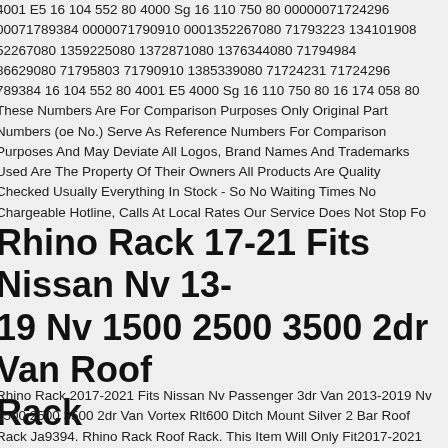4001 E5 16 104 552 80 4000 Sg 16 110 750 80 00000071724296 00071789384 0000071790910 0001352267080 71793223 134101908 52267080 1359225080 1372871080 1376344080 71794984 86629080 71795803 71790910 1385339080 71724231 71724296 789384 16 104 552 80 4001 E5 4000 Sg 16 110 750 80 16 174 058 80 These Numbers Are For Comparison Purposes Only Original Part Numbers (oe No.) Serve As Reference Numbers For Comparison Purposes And May Deviate All Logos, Brand Names And Trademarks Used Are The Property Of Their Owners All Products Are Quality Checked Usually Everything In Stock - So No Waiting Times No Chargeable Hotline, Calls At Local Rates Our Service Does Not Stop Fo
Rhino Rack 17-21 Fits Nissan Nv 13-19 Nv 1500 2500 3500 2dr Van Roof Rack
Rhino Rack 2017-2021 Fits Nissan Nv Passenger 3dr Van 2013-2019 Nv 1500 2500 3500 2dr Van Vortex Rlt600 Ditch Mount Silver 2 Bar Roof Rack Ja9394. Rhino Rack Roof Rack. This Item Will Only Fit2017-2021